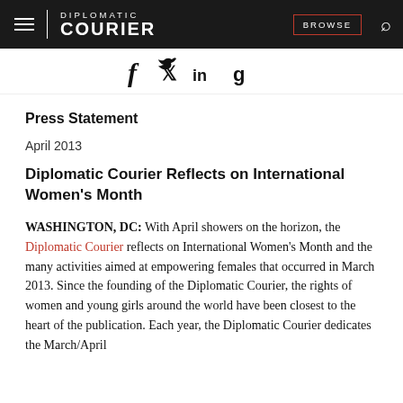DIPLOMATIC COURIER | BROWSE
[Figure (illustration): Social media sharing icons: Facebook (f), Twitter (bird), LinkedIn (in), Google+ (g+)]
Press Statement
April 2013
Diplomatic Courier Reflects on International Women's Month
WASHINGTON, DC: With April showers on the horizon, the Diplomatic Courier reflects on International Women's Month and the many activities aimed at empowering females that occurred in March 2013. Since the founding of the Diplomatic Courier, the rights of women and young girls around the world have been closest to the heart of the publication. Each year, the Diplomatic Courier dedicates the March/April